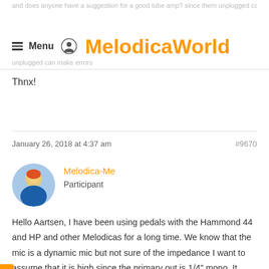and does anyone have a suggestion for a good tube amp? since them unplugged can make errors
MelodicaWorld
Thnx!
January 26, 2018 at 4:37 am  #9670
Melodica-Me
Participant
Hello Aartsen, I have been using pedals with the Hammond 44 and HP and other Melodicas for a long time. We know that the mic is a dynamic mic but not sure of the impedance I want to assume that it is high since the primary out is 1/4" mono. It does need some sort of preamp to boost the signal especially if you are going to use effect pedals. I use a simple Ernie Ball volume pedal that works fine. The